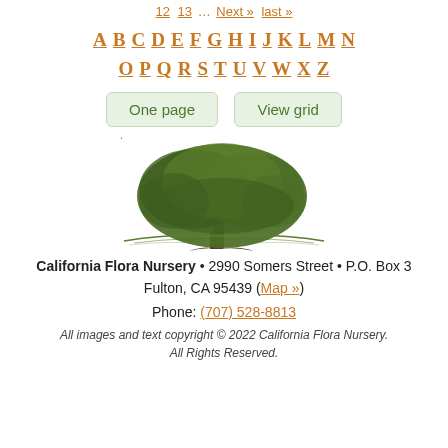12  13  ...  Next »  last »
A B C D E F G H I J K L M N O P Q R S T U V W X Z
One page   View grid
[Figure (illustration): A detailed ink drawing of a large spreading oak tree with a wide canopy over a grassy landscape.]
California Flora Nursery • 2990 Somers Street • P.O. Box 3 Fulton, CA 95439 (Map »)
Phone: (707) 528-8813
All images and text copyright © 2022 California Flora Nursery. All Rights Reserved.